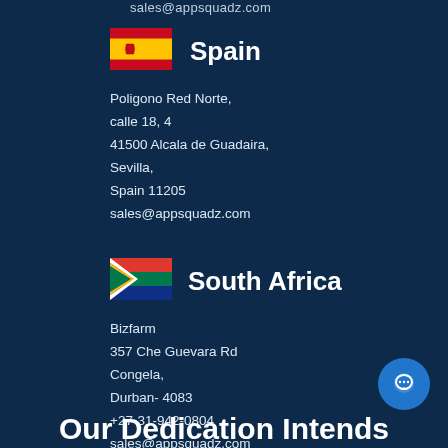sales@appsquadz.com
Spain
[Figure (illustration): Spanish flag]
Poligono Red Norte,
calle 18, 4
41500 Alcala de Guadaira,
Sevilla,
Spain 11205
sales@appsquadz.com
South Africa
[Figure (illustration): South African flag]
Bizfarm
357 Che Guevara Rd
Congela,
Durban- 4083
+27-31-942-0804
sales@appsquadz.com
Our Dedication Intends